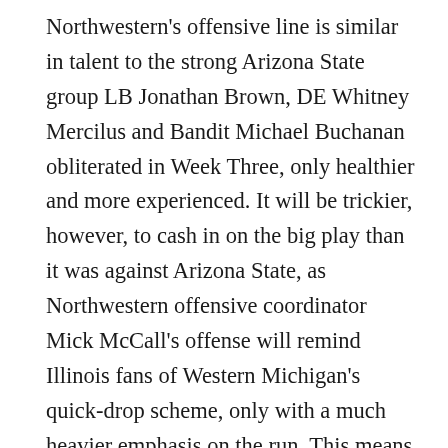Northwestern's offensive line is similar in talent to the strong Arizona State group LB Jonathan Brown, DE Whitney Mercilus and Bandit Michael Buchanan obliterated in Week Three, only healthier and more experienced. It will be trickier, however, to cash in on the big play than it was against Arizona State, as Northwestern offensive coordinator Mick McCall's offense will remind Illinois fans of Western Michigan's quick-drop scheme, only with a much heavier emphasis on the run. This means Mercilus and company will need to create havoc behind the line of scrimmage early on in plays or Persa will get into a rhythm. The Illini secondary struggled against Western Michigan's Alex Carder in the first half — including